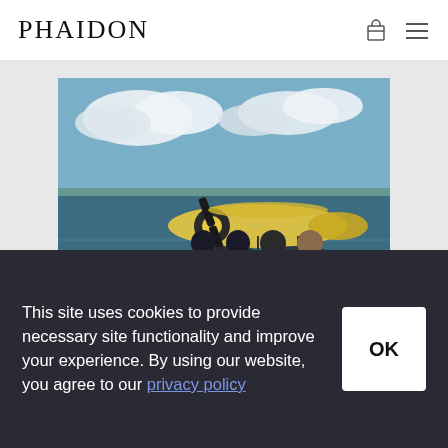PHAIDON
[Figure (photo): Four people standing in front of a yellow and white seaplane/floatplane docked near water, with cloudy sky in background.]
This site uses cookies to provide necessary site functionality and improve your experience. By using our website, you agree to our privacy policy